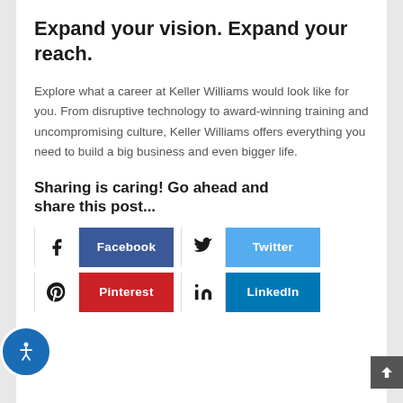Expand your vision. Expand your reach.
Explore what a career at Keller Williams would look like for you. From disruptive technology to award-winning training and uncompromising culture, Keller Williams offers everything you need to build a big business and even bigger life.
Sharing is caring! Go ahead and share this post...
[Figure (infographic): Social sharing buttons: Facebook, Twitter, Pinterest, LinkedIn with icons]